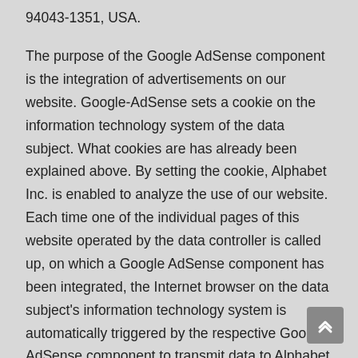94043-1351, USA.
The purpose of the Google AdSense component is the integration of advertisements on our website. Google-AdSense sets a cookie on the information technology system of the data subject. What cookies are has already been explained above. By setting the cookie, Alphabet Inc. is enabled to analyze the use of our website. Each time one of the individual pages of this website operated by the data controller is called up, on which a Google AdSense component has been integrated, the Internet browser on the data subject's information technology system is automatically triggered by the respective Google AdSense component to transmit data to Alphabet Inc. for the purpose of online advertising and commission accounting. Within the scope of this technical procedure, Alphabet Inc. obtains knowledge of personal data, such as the IP address of the data subject, which Alphabet Inc. uses, among other things, to track the origin of visitors and clicks and subsequently to enable commission